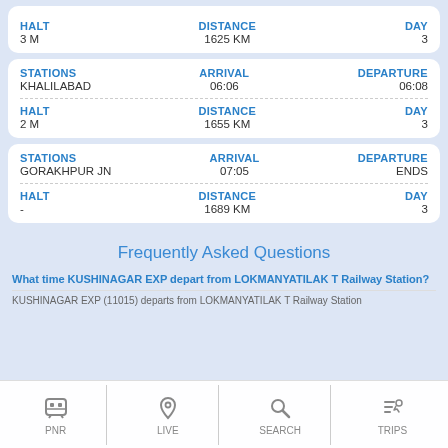| HALT | DISTANCE | DAY |
| --- | --- | --- |
| 3 M | 1625 KM | 3 |
| STATIONS | ARRIVAL | DEPARTURE | HALT | DISTANCE | DAY |
| --- | --- | --- | --- | --- | --- |
| KHALILABAD | 06:06 | 06:08 | 2 M | 1655 KM | 3 |
| STATIONS | ARRIVAL | DEPARTURE | HALT | DISTANCE | DAY |
| --- | --- | --- | --- | --- | --- |
| GORAKHPUR JN | 07:05 | ENDS | - | 1689 KM | 3 |
Frequently Asked Questions
What time KUSHINAGAR EXP depart from LOKMANYATILAK T Railway Station?
KUSHINAGAR EXP (11015) departs from LOKMANYATILAK T Railway Station